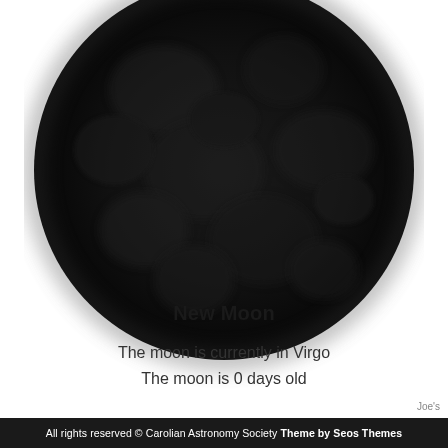[Figure (photo): New Moon photograph showing a nearly completely dark circular moon against a white background. The moon appears as a dark, almost black sphere with very faint surface detail visible.]
New Moon
The moon is currently in Virgo
The moon is 0 days old
Joe's
All rights reserved © Carolian Astronomy Society Theme by Seos Themes